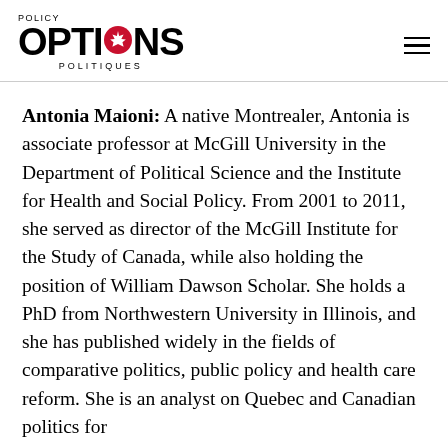POLICY OPTIONS POLITIQUES
Antonia Maioni: A native Montrealer, Antonia is associate professor at McGill University in the Department of Political Science and the Institute for Health and Social Policy. From 2001 to 2011, she served as director of the McGill Institute for the Study of Canada, while also holding the position of William Dawson Scholar. She holds a PhD from Northwestern University in Illinois, and she has published widely in the fields of comparative politics, public policy and health care reform. She is an analyst on Quebec and Canadian politics for